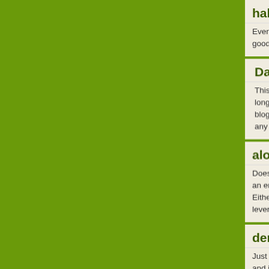halsband med budskap за ?????????
Everyone loves it when people come together and good work! halsband med budskap nvilvo.prizsewom
Danielsycle за ???????????? ????????
This is tremendous. Hmm, it seems like your site long) so I guess I'll just sum it up what I had written blog. I as well am an aspiring blog writer, but I'm sti any recommendations for newbie blog writers? I'd ap
aloe vera leverpåverkan за ??????????
Does your blog have a contact page? I'm having pro an email. I've got some recommendations for your b Either way, great site and I look forward to se leverpåverkan mocco.teswomango.com/map3.php
den nionde graven за ??????????? ??
Just wish to say your article is as amazing. The cl and i can think you're a professional in this subject. me to grasp your RSS feed to stay up to date with please carry on the gratifying work. den nionde grave
smärta höger sida magen och rygg 20.08.2021